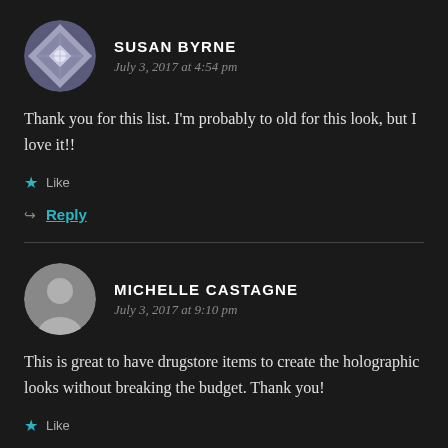SUSAN BYRNE
July 3, 2017 at 4:54 pm
Thank you for this list. I'm probably to old for this look, but I love it!!
Like
Reply
MICHELLE CASTAGNE
July 3, 2017 at 9:10 pm
This is great to have drugstore items to create the holographic looks without breaking the budget. Thank you!
Like